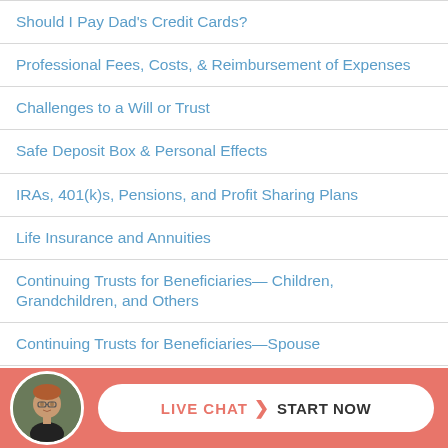Should I Pay Dad's Credit Cards?
Professional Fees, Costs, & Reimbursement of Expenses
Challenges to a Will or Trust
Safe Deposit Box & Personal Effects
IRAs, 401(k)s, Pensions, and Profit Sharing Plans
Life Insurance and Annuities
Continuing Trusts for Beneficiaries— Children, Grandchildren, and Others
Continuing Trusts for Beneficiaries—Spouse
Working with the CPA/Tax Return Preparer
Bank Accounts